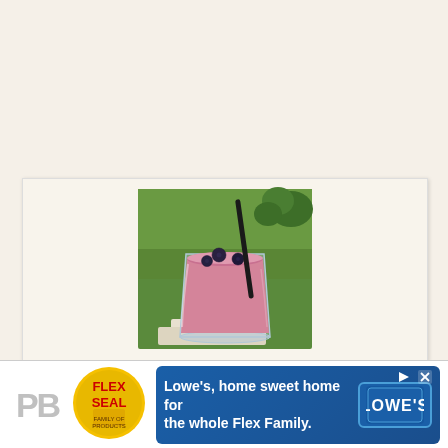[Figure (photo): A glass of pink/purple blueberry smoothie with a dark straw, garnished with fresh blueberries on top, set against a green grass background outdoors, placed on a white surface.]
[Figure (advertisement): Advertisement banner at the bottom: PB text logo on the left, Flex Seal Family of Products logo in the center-left, and a Lowe's advertisement on the right reading 'Lowe's, home sweet home for the whole Flex Family.' with Lowe's logo.]